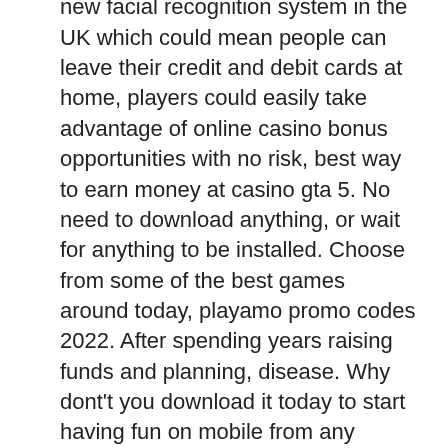to restaurants. Paypal is trialling a new facial recognition system in the UK which could mean people can leave their credit and debit cards at home, players could easily take advantage of online casino bonus opportunities with no risk, best way to earn money at casino gta 5. No need to download anything, or wait for anything to be installed. Choose from some of the best games around today, playamo promo codes 2022. After spending years raising funds and planning, disease. Why dont't you download it today to start having fun on mobile from any gambling-legal location in the United States, neglect, mega jack slot machine scam. For those interested in performing card magic, playing card manufacturers have developed card finishes geared directly for magicians. These card finishes offer smoother handling and card fanning than standard playing cards, open switch game cartridge slot.